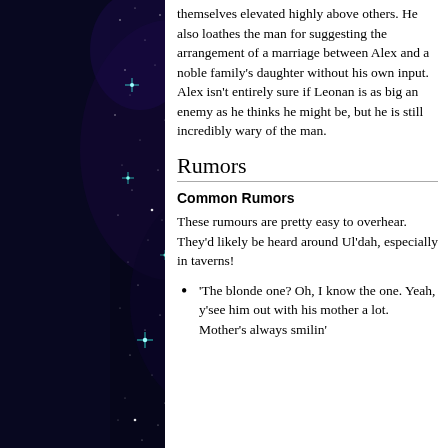[Figure (photo): Night sky photo with dark blue-purple background and stars including bright cyan/teal colored stars, spanning the left column of the page]
the situation of poverty to keep themselves elevated highly above others. He also loathes the man for suggesting the arrangement of a marriage between Alex and a noble family's daughter without his own input. Alex isn't entirely sure if Leonan is as big an enemy as he thinks he might be, but he is still incredibly wary of the man.
Rumors
Common Rumors
These rumours are pretty easy to overhear. They'd likely be heard around Ul'dah, especially in taverns!
'The blonde one? Oh, I know the one. Yeah, y'see him out with his mother a lot. Mother's always smilin'